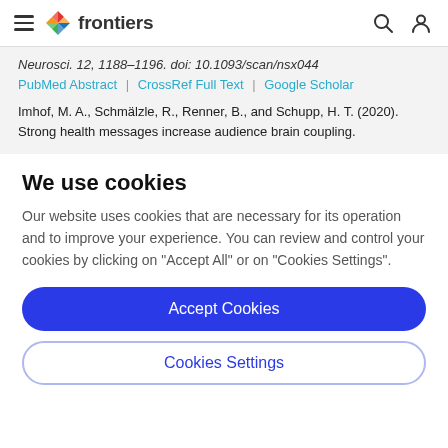frontiers (navigation bar with hamburger menu, logo, search and user icons)
Neurosci. 12, 1188–1196. doi: 10.1093/scan/nsx044
PubMed Abstract | CrossRef Full Text | Google Scholar
Imhof, M. A., Schmälzle, R., Renner, B., and Schupp, H. T. (2020). Strong health messages increase audience brain coupling.
We use cookies
Our website uses cookies that are necessary for its operation and to improve your experience. You can review and control your cookies by clicking on "Accept All" or on "Cookies Settings".
Accept Cookies
Cookies Settings